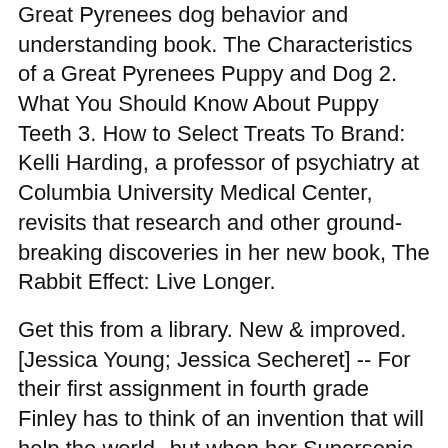Great Pyrenees dog behavior and understanding book. The Characteristics of a Great Pyrenees Puppy and Dog 2. What You Should Know About Puppy Teeth 3. How to Select Treats To Brand: Kelli Harding, a professor of psychiatry at Columbia University Medical Center, revisits that research and other ground-breaking discoveries in her new book, The Rabbit Effect: Live Longer.
Get this from a library. New & improved. [Jessica Young; Jessica Secheret] -- For their first assignment in fourth grade Finley has to think of an invention that will help the world--but when her Supersonic Sibling Sublimator appears to work too well, and her annoying older.
Good. New, Improved Murder by Ed Gorman. Binding: Mass Market Paperback. Weight: Lbs. Product Group: Book. Istextbook: No. A copy that has been read, but remains in clean condition. All pages are intact, and the cover is intact.
The spine may show signs of wear/5(23). This list of 13 books that have improved my mental health over the last few years is my attempt at getting people to